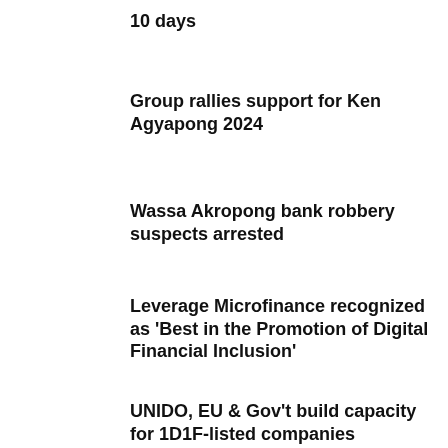10 days
Group rallies support for Ken Agyapong 2024
Wassa Akropong bank robbery suspects arrested
Leverage Microfinance recognized as 'Best in the Promotion of Digital Financial Inclusion'
UNIDO, EU & Gov't build capacity for 1D1F-listed companies